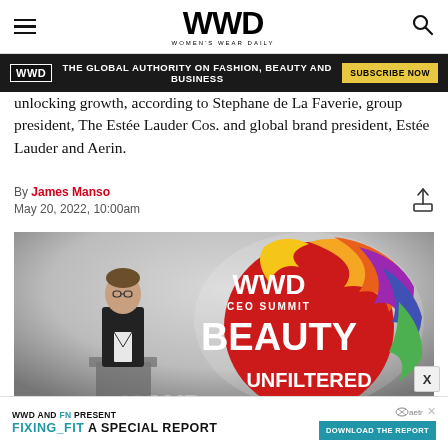WWD WOMEN'S WEAR DAILY
[Figure (screenshot): WWD ad banner: dark background with WWD badge, text 'THE GLOBAL AUTHORITY ON FASHION, BEAUTY AND BUSINESS', and yellow SUBSCRIBE NOW button]
unlocking growth, according to Stephane de La Faverie, group president, The Estée Lauder Cos. and global brand president, Estée Lauder and Aerin.
By James Manso
May 20, 2022, 10:00am
[Figure (photo): Man in dark suit speaking at a podium in front of a WWD CEO Summit Beauty Unfiltered colorful logo backdrop]
[Figure (screenshot): Bottom ad: WWD AND FN PRESENT FIXING_FIT A SPECIAL REPORT with DOWNLOAD THE REPORT button and aetna logo]